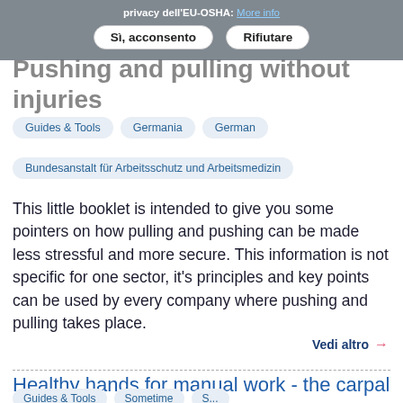privacy dell'EU-OSHA. More info
Sì, acconsento   Rifiutare
Pushing and pulling without injuries
Guides & Tools   Germania   German
Bundesanstalt für Arbeitsschutz und Arbeitsmedizin
This little booklet is intended to give you some pointers on how pulling and pushing can be made less stressful and more secure. This information is not specific for one sector, it's principles and key points can be used by every company where pushing and pulling takes place.
Vedi altro →
Healthy hands for manual work - the carpal tunnel syndome
Guides & Tools   Sometime   S...